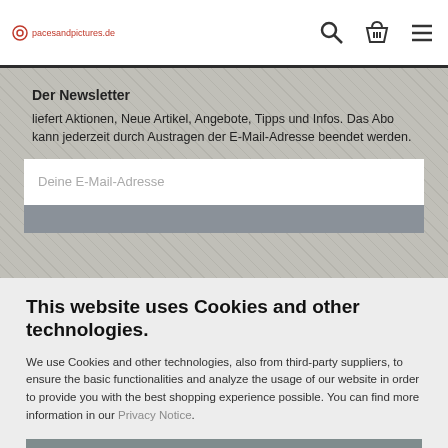pacesandpictures.de — navigation bar with search, basket, menu icons
Der Newsletter
liefert Aktionen, Neue Artikel, Angebote, Tipps und Infos. Das Abo kann jederzeit durch Austragen der E-Mail-Adresse beendet werden.
Deine E-Mail-Adresse
This website uses Cookies and other technologies.
We use Cookies and other technologies, also from third-party suppliers, to ensure the basic functionalities and analyze the usage of our website in order to provide you with the best shopping experience possible. You can find more information in our Privacy Notice.
Accept all
More information